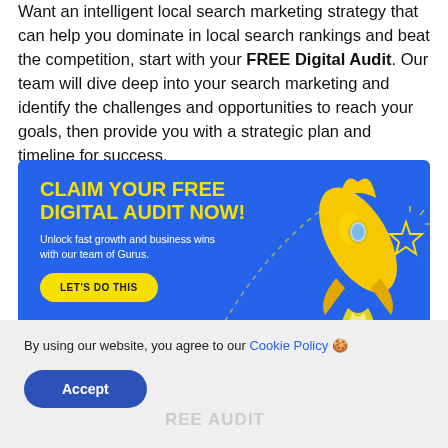Want an intelligent local search marketing strategy that can help you dominate in local search rankings and beat the competition, start with your FREE Digital Audit. Our team will dive deep into your search marketing and identify the challenges and opportunities to reach your goals, then provide you with a strategic plan and timeline for success.
[Figure (infographic): Blue banner advertisement with yellow bold headline 'CLAIM YOUR FREE DIGITAL AUDIT NOW!', white subtext 'Unlock fast growth and business wins with our team of Gurus.', yellow CTA button 'LET'S DO THIS', and a 3D yellow rocket illustration launching on the right side with decorative stars and dashed path.]
By using our website, you agree to our Cookie Policy 🍪
Accept